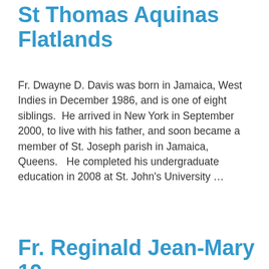St Thomas Aquinas Flatlands
Fr. Dwayne D. Davis was born in Jamaica, West Indies in December 1986, and is one of eight siblings.  He arrived in New York in September 2000, to live with his father, and soon became a member of St. Joseph parish in Jamaica, Queens.   He completed his undergraduate education in 2008 at St. John's University …
Read more
Fr. Reginald Jean-Mary 19 years of Priestly Service